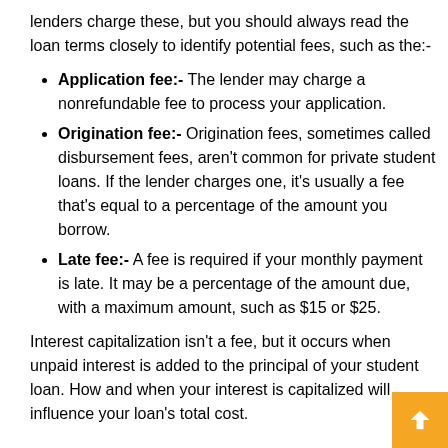lenders charge these, but you should always read the loan terms closely to identify potential fees, such as the:-
Application fee:- The lender may charge a nonrefundable fee to process your application.
Origination fee:- Origination fees, sometimes called disbursement fees, aren't common for private student loans. If the lender charges one, it's usually a fee that's equal to a percentage of the amount you borrow.
Late fee:- A fee is required if your monthly payment is late. It may be a percentage of the amount due, with a maximum amount, such as $15 or $25.
Interest capitalization isn't a fee, but it occurs when unpaid interest is added to the principal of your student loan. How and when your interest is capitalized will influence your loan's total cost.